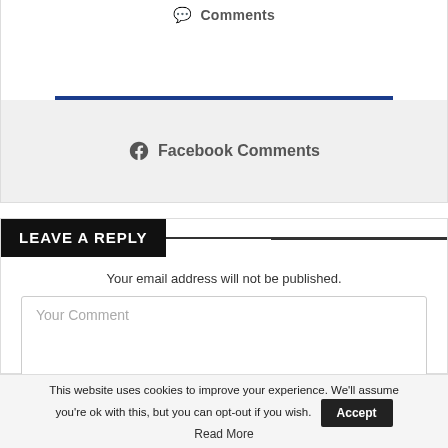💬 Comments
Facebook Comments
LEAVE A REPLY
Your email address will not be published.
Your Comment
This website uses cookies to improve your experience. We'll assume you're ok with this, but you can opt-out if you wish. Accept Read More